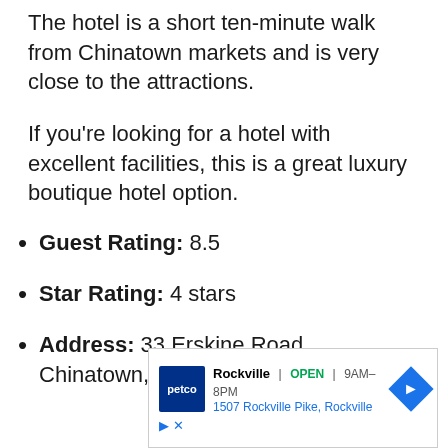The hotel is a short ten-minute walk from Chinatown markets and is very close to the attractions.
If you're looking for a hotel with excellent facilities, this is a great luxury boutique hotel option.
Guest Rating: 8.5
Star Rating: 4 stars
Address: 33 Erskine Road, Chinatown,
[Figure (other): Advertisement for Petco store in Rockville showing store name, OPEN status, hours 9AM-8PM, address 1507 Rockville Pike, Rockville, and navigation icon]